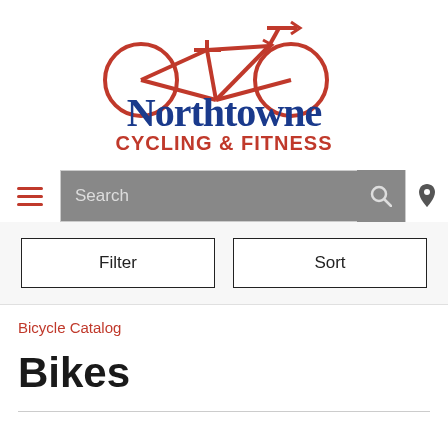[Figure (logo): Northtowne Cycling & Fitness logo — red bicycle outline above text 'Northtowne' in blue serif font and 'CYCLING & FITNESS' in red bold uppercase]
Search
Filter
Sort
Bicycle Catalog
Bikes